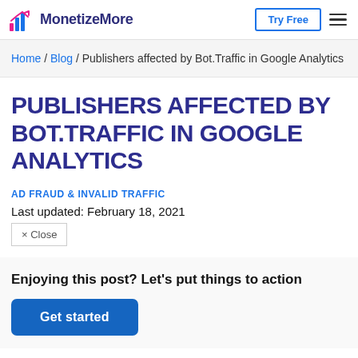MonetizeMore | Try Free | Menu
Home / Blog / Publishers affected by Bot.Traffic in Google Analytics
PUBLISHERS AFFECTED BY BOT.TRAFFIC IN GOOGLE ANALYTICS
AD FRAUD & INVALID TRAFFIC
Last updated: February 18, 2021
× Close
Enjoying this post? Let's put things to action
Get started